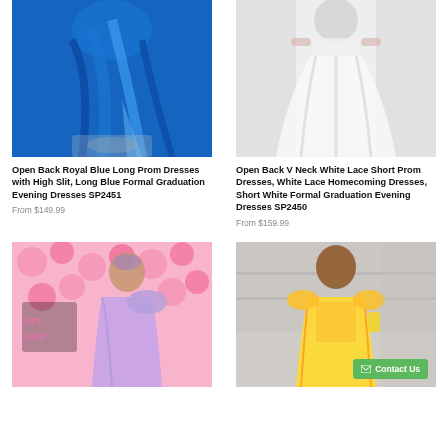[Figure (photo): Woman wearing open back royal blue long prom dress with high slit]
[Figure (photo): Woman wearing open back V neck white lace short prom dress]
Open Back Royal Blue Long Prom Dresses with High Slit, Long Blue Formal Graduation Evening Dresses SP2451
From $149.99
Open Back V Neck White Lace Short Prom Dresses, White Lace Homecoming Dresses, Short White Formal Graduation Evening Dresses SP2450
From $159.99
[Figure (photo): Woman wearing lavender one-shoulder prom dress in front of pink flower wall]
[Figure (photo): Woman in yellow off-shoulder sequin prom dress taking a mirror selfie]
Contact Us